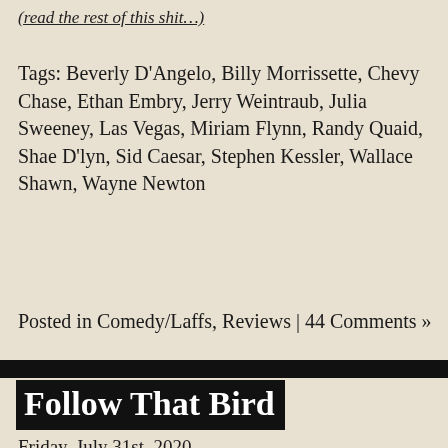(read the rest of this shit…)
Tags: Beverly D'Angelo, Billy Morrissette, Chevy Chase, Ethan Embry, Jerry Weintraub, Julia Sweeney, Las Vegas, Miriam Flynn, Randy Quaid, Shae D'lyn, Sid Caesar, Stephen Kessler, Wallace Shawn, Wayne Newton
Posted in Comedy/Laffs, Reviews | 44 Comments »
Follow That Bird
Friday, July 31st, 2020
August 2, 1985